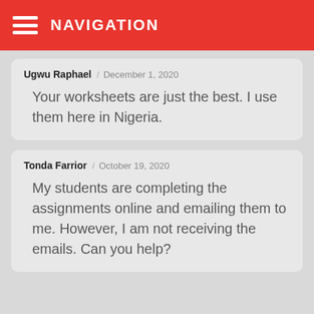NAVIGATION
Ugwu Raphael / December 1, 2020
Your worksheets are just the best. I use them here in Nigeria.
Tonda Farrior / October 19, 2020
My students are completing the assignments online and emailing them to me. However, I am not receiving the emails. Can you help?